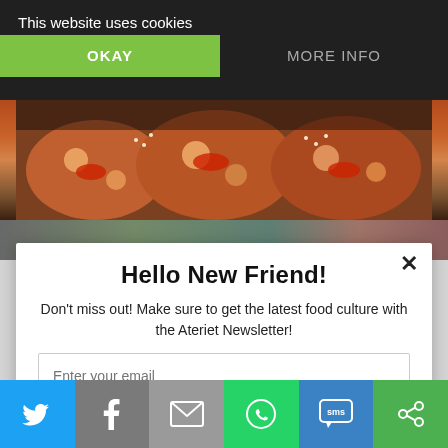This website uses cookies
OKAY
MORE INFO
[Figure (photo): Food photo strip showing pizza/food items]
[Figure (screenshot): Newsletter modal popup overlay]
Hello New Friend!
Don't miss out! Make sure to get the latest food culture with the Ateriet Newsletter!
Enter your email
Yes, I want great food culture delivered
[Figure (infographic): Social sharing bar with Twitter, Facebook, Email, WhatsApp, SMS, and other share buttons]